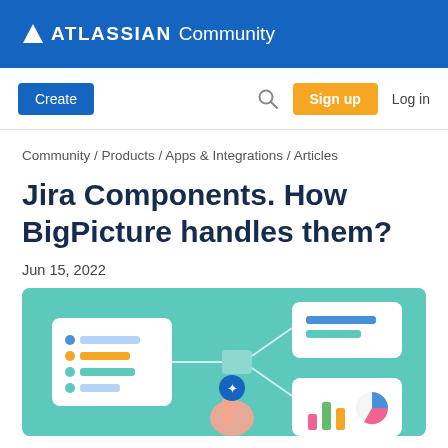ATLASSIAN Community
Create | Search | Sign up | Log in
Community / Products / Apps & Integrations / Articles
Jira Components. How BigPicture handles them?
Jun 15, 2022
[Figure (illustration): Hero image with teal/mint background showing UI cards with colored bars and dots, a hand pointing at an icon, connected by lines, representing Jira components and BigPicture integration]